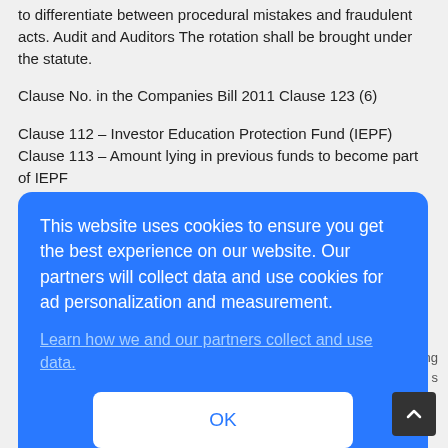to differentiate between procedural mistakes and fraudulent acts. Audit and Auditors The rotation shall be brought under the statute.
Clause No. in the Companies Bill 2011 Clause 123 (6)
Clause 112 – Investor Education Protection Fund (IEPF) Clause 113 – Amount lying in previous funds to become part of IEPF
Clause 125 (3)
This website uses cookies to ensure you get the best experience on our website. Our partners will collect data and use cookies for ad personalization and measurement.
Learn how we and our partners collect and use data.
OK